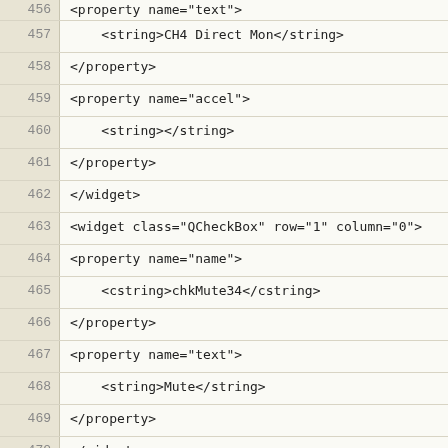456    <property name="text">
457        <string>CH4 Direct Mon</string>
458    </property>
459    <property name="accel">
460        <string></string>
461    </property>
462    </widget>
463    <widget class="QCheckBox" row="1" column="0">
464    <property name="name">
465        <cstring>chkMute34</cstring>
466    </property>
467    <property name="text">
468        <string>Mute</string>
469    </property>
470    </widget>
471    <widget class="QCheckBox" row="0" column="0">
472    <property name="name">
473    <property name="text">